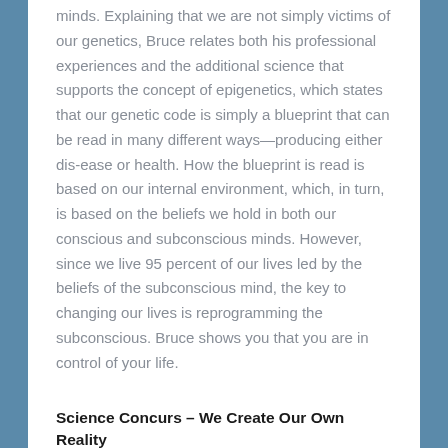minds. Explaining that we are not simply victims of our genetics, Bruce relates both his professional experiences and the additional science that supports the concept of epigenetics, which states that our genetic code is simply a blueprint that can be read in many different ways—producing either dis-ease or health. How the blueprint is read is based on our internal environment, which, in turn, is based on the beliefs we hold in both our conscious and subconscious minds. However, since we live 95 percent of our lives led by the beliefs of the subconscious mind, the key to changing our lives is reprogramming the subconscious. Bruce shows you that you are in control of your life.
Science Concurs – We Create Our Own Reality
Neuroscience has revolutionized the way we see the brain over the past few years. Scientists now understand that the brain is rewiring itself constantly, adding new circuits at the